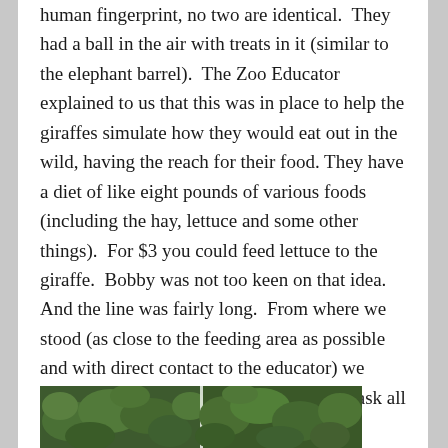human fingerprint, no two are identical.  They had a ball in the air with treats in it (similar to the elephant barrel).  The Zoo Educator explained to us that this was in place to help the giraffes simulate how they would eat out in the wild, having the reach for their food. They have a diet of like eight pounds of various foods (including the hay, lettuce and some other things).  For $3 you could feed lettuce to the giraffe.  Bobby was not too keen on that idea.  And the line was fairly long.  From where we stood (as close to the feeding area as possible and with direct contact to the educator) we were able to see the giraffes up close and ask all of the questions.  All of them were born in captivity, the oldest giraffe there is 12 years old.
[Figure (photo): Partial photo strip at the bottom of the page showing green foliage/trees, split into two sections by a white divider line.]